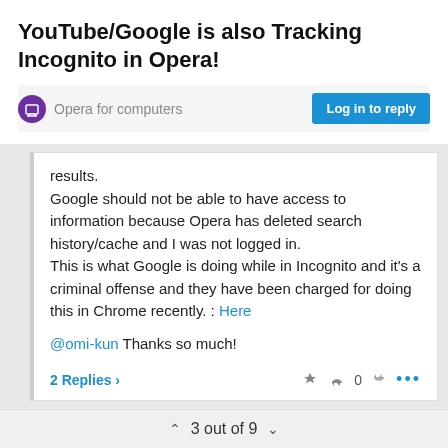YouTube/Google is also Tracking Incognito in Opera!
Opera for computers
Log in to reply
results.
Google should not be able to have access to information because Opera has deleted search history/cache and I was not logged in.
This is what Google is doing while in Incognito and it's a criminal offense and they have been charged for doing this in Chrome recently. : Here

@omi-kun Thanks so much!
2 Replies >
3 out of 9